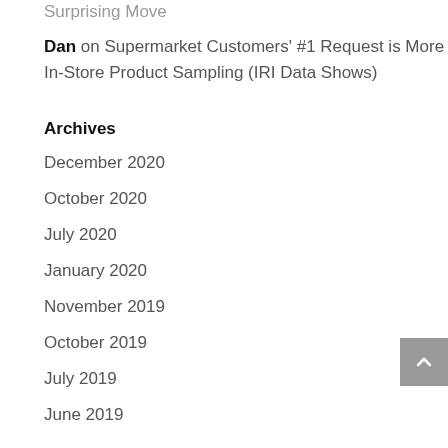Surprising Move
Dan on Supermarket Customers' #1 Request is More In-Store Product Sampling (IRI Data Shows)
Archives
December 2020
October 2020
July 2020
January 2020
November 2019
October 2019
July 2019
June 2019